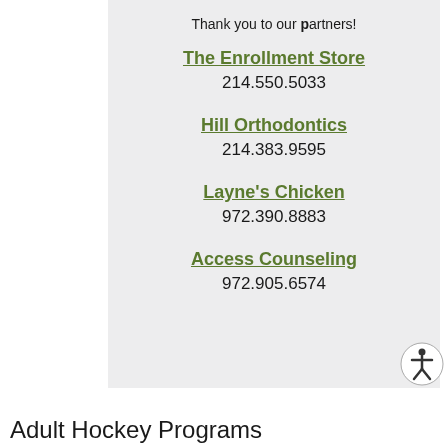Thank you to our partners!
The Enrollment Store
214.550.5033
Hill Orthodontics
214.383.9595
Layne's Chicken
972.390.8883
Access Counseling
972.905.6574
Adult Hockey Programs